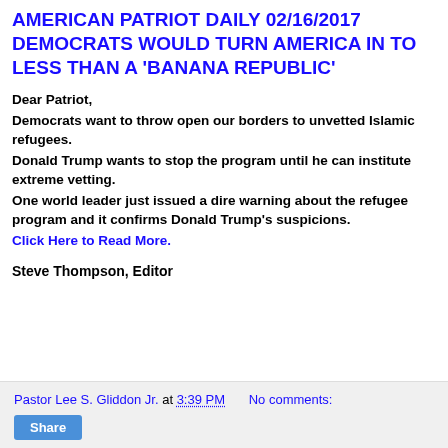AMERICAN PATRIOT DAILY 02/16/2017 DEMOCRATS WOULD TURN AMERICA IN TO LESS THAN A 'BANANA REPUBLIC'
Dear Patriot,
Democrats want to throw open our borders to unvetted Islamic refugees.
Donald Trump wants to stop the program until he can institute extreme vetting.
One world leader just issued a dire warning about the refugee program and it confirms Donald Trump's suspicions.
Click Here to Read More.
Steve Thompson, Editor
Pastor Lee S. Gliddon Jr. at 3:39 PM   No comments:   Share